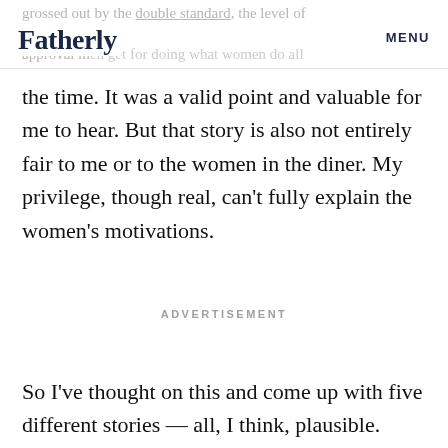Fatherly  MENU
the time. It was a valid point and valuable for me to hear. But that story is also not entirely fair to me or to the women in the diner. My privilege, though real, can't fully explain the women's motivations.
ADVERTISEMENT
So I've thought on this and come up with five different stories — all, I think, plausible.